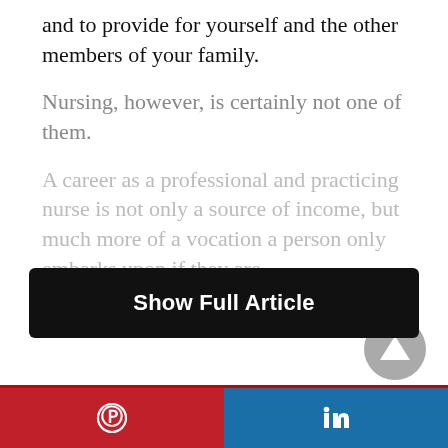and to provide for yourself and the other members of your family.
Nursing, however, is certainly not one of them.
A career as a professional and practicing nurse is not only a source of income, but much more of a vocation a person only embarks upon if they are
[Figure (other): Black rounded rectangle button with white bold text 'Show Full Article']
[Figure (other): Gray circular scroll-to-top button with upward triangle arrow icon]
[Figure (other): Footer bar split into two sections: red Pinterest icon on left, blue LinkedIn icon on right]